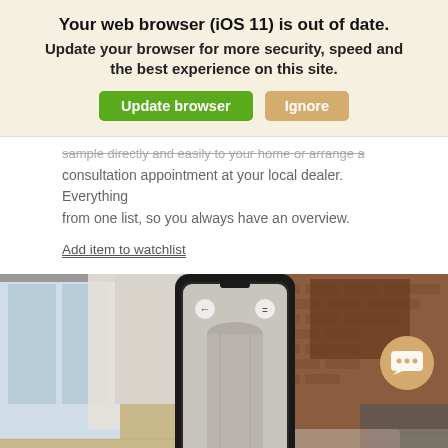Your web browser (iOS 11) is out of date. Update your browser for more security, speed and the best experience on this site.
sample directly and easily to your home or arrange a consultation appointment at your local dealer. Everything from one list, so you always have an overview.
Add item to watchlist
[Figure (photo): A hand holding a smartphone displaying an augmented reality app showing a cylindrical concrete object in a living room interior. The background shows a brick wall, wooden floor, a window with curtains, and living room furniture. A golden chat bubble icon appears in the bottom right.]